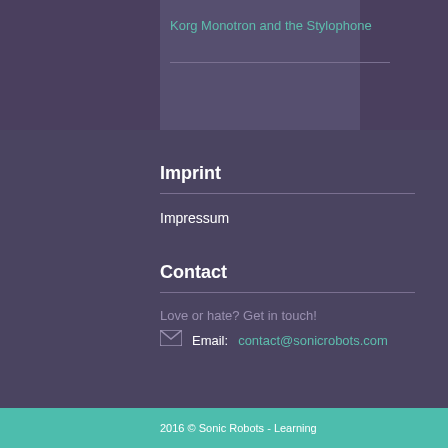Korg Monotron and the Stylophone
Imprint
Impressum
Contact
Love or hate? Get in touch!
Email: contact@sonicrobots.com
2016 © Sonic Robots - Learning